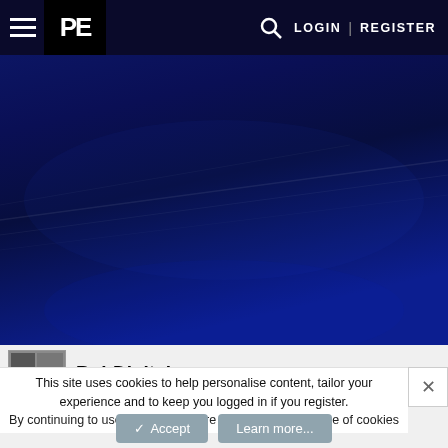PE | LOGIN | REGISTER
[Figure (photo): Dark blue hero image showing a road at night with blue ambient lighting]
BobDigital
This site uses cookies to help personalise content, tailor your experience and to keep you logged in if you register. By continuing to use this site, you are consenting to our use of cookies
✓ Accept   Learn more...